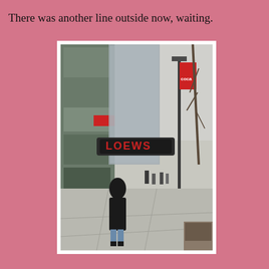There was another line outside now, waiting.
[Figure (photo): Street scene showing a pedestrian mall with a glass office building on the left, a large red 'LOEWS' sign spanning the walkway, bare winter trees, lamp posts, and people walking on the sidewalk. A figure in a black coat walks in the foreground.]